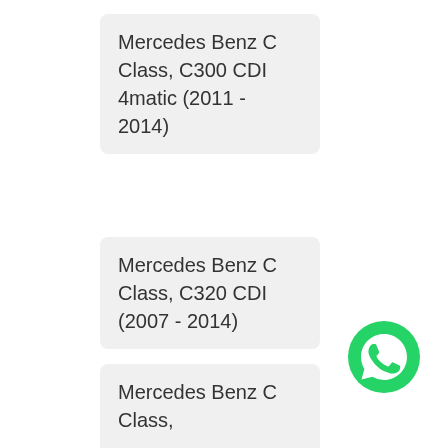Mercedes Benz C Class, C300 CDI 4matic (2011 - 2014)
Mercedes Benz C Class, C320 CDI (2007 - 2014)
Mercedes Benz C Class,
[Figure (logo): WhatsApp green circular logo icon]